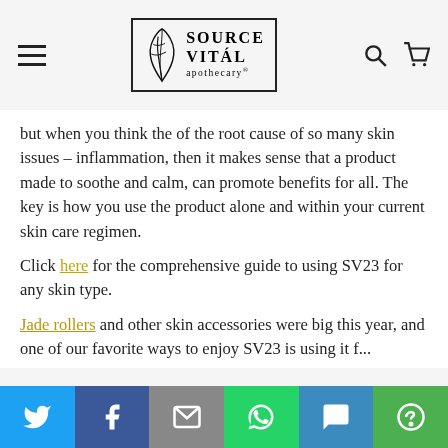[Figure (logo): Source Vital Apothecary logo with leaf graphic inside a bordered box, hamburger menu icon on left, search and cart icons on right]
but when you think the of the root cause of so many skin issues – inflammation, then it makes sense that a product made to soothe and calm, can promote benefits for all. The key is how you use the product alone and within your current skin care regimen.
Click here for the comprehensive guide to using SV23 for any skin type.
Jade rollers and other skin accessories were big this year, and one of our favorite ways to enjoy SV23 is using it f...
[Figure (infographic): Social sharing bar with Twitter, Facebook, Email, WhatsApp, SMS, and More buttons]